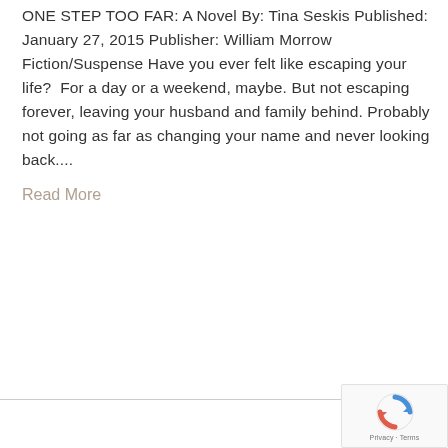ONE STEP TOO FAR: A Novel By: Tina Seskis Published: January 27, 2015 Publisher: William Morrow Fiction/Suspense Have you ever felt like escaping your life?  For a day or a weekend, maybe. But not escaping forever, leaving your husband and family behind. Probably not going as far as changing your name and never looking back....
Read More
[Figure (logo): Google reCAPTCHA badge with rotating arrows icon and Privacy · Terms text]